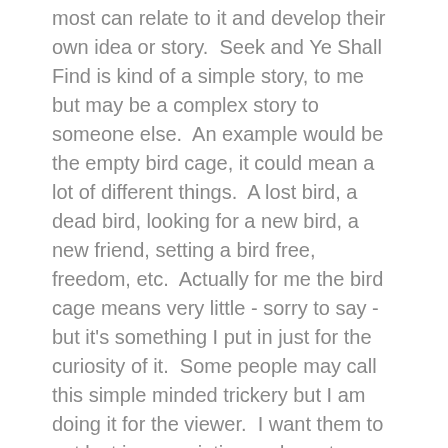most can relate to it and develop their own idea or story.  Seek and Ye Shall Find is kind of a simple story, to me but may be a complex story to someone else.  An example would be the empty bird cage, it could mean a lot of different things.  A lost bird, a dead bird, looking for a new bird, a new friend, setting a bird free, freedom, etc.  Actually for me the bird cage means very little - sorry to say - but it's something I put in just for the curiosity of it.  Some people may call this simple minded trickery but I am doing it for the viewer.  I want them to get lost in my painting and create a story, so I added this detail.  Things in the painting that do mean a lot to me are: my daughters name which is Aspen, my sons name, which is Seven.  In most of